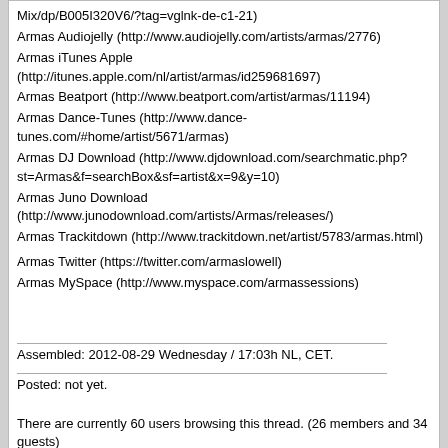Mix/dp/B005I320V6/?tag=vglnk-de-c1-21)
Armas Audiojelly (http://www.audiojelly.com/artists/armas/2776)
Armas iTunes Apple (http://itunes.apple.com/nl/artist/armas/id259681697)
Armas Beatport (http://www.beatport.com/artist/armas/11194)
Armas Dance-Tunes (http://www.dance-tunes.com/#home/artist/5671/armas)
Armas DJ Download (http://www.djdownload.com/searchmatic.php?st=Armas&f=searchBox&sf=artist&x=9&y=10)
Armas Juno Download (http://www.junodownload.com/artists/Armas/releases/)
Armas Trackitdown (http://www.trackitdown.net/artist/5783/armas.html)

Armas Twitter (https://twitter.com/armaslowell)
Armas MySpace (http://www.myspace.com/armassessions)
Assembled: 2012-08-29 Wednesday / 17:03h NL, CET.
Posted: not yet.
There are currently 60 users browsing this thread. (26 members and 34 guests)
danmark_ori, piccoli+, Trance Dreamer, Trance Gemeni+, Purple Stories, CICA9THC+, Threef, trancefan0883+, everything in the sky+, Katadunkass+, mikedrop+, Hoichi, ahnfeldt+, Sirrah, EarCandy, Jonidob, UzeYroS+, Arsen14, cottonmouth+, Matt Bukovski+, acidzone, anabuzz, HIRIG888+, Ovidiu22, adrianek323, dub23
trancefan0883    Aug 31st, 2012, 13:12
01. Ost & Meyer - Safari (Maor Levi Remix) [Enhanced Recordings]
02. Kaskade & Deadmau5 - Move For Me (Mike Danis Remix) [CDR]